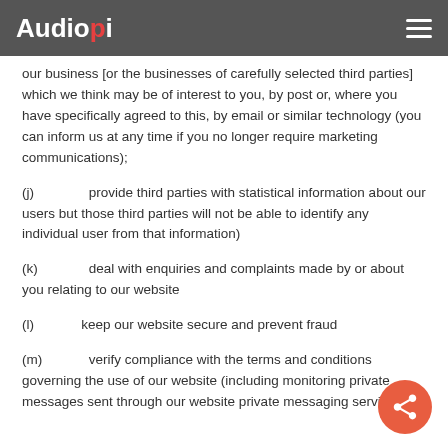Audiopi
our business [or the businesses of carefully selected third parties] which we think may be of interest to you, by post or, where you have specifically agreed to this, by email or similar technology (you can inform us at any time if you no longer require marketing communications);
(j)      provide third parties with statistical information about our users but those third parties will not be able to identify any individual user from that information)
(k)      deal with enquiries and complaints made by or about you relating to our website
(l)     keep our website secure and prevent fraud
(m)      verify compliance with the terms and conditions governing the use of our website (including monitoring private messages sent through our website private messaging service);